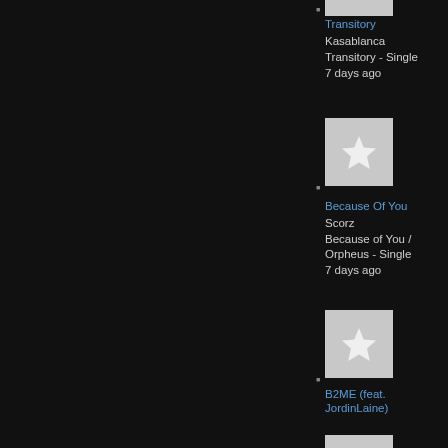[Figure (screenshot): Music app list screenshot showing three track entries on dark background. Each entry has a thumbnail image (grey with white star), track title in blue, artist name in grey, album name in grey, and '7 days ago' timestamp.]
Transitory
Kasablanca
Transitory - Single
7 days ago
Because Of You
Scorz
Because of You / Orpheus - Single
7 days ago
B2ME (feat. JordinLaine)
AtDusk
B2ME (feat. JordinLaine) - Single
7 days ago